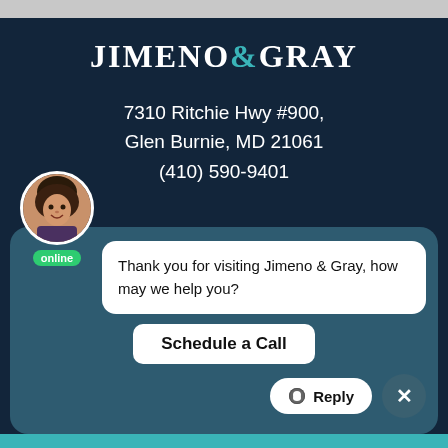JIMENO & GRAY
7310 Ritchie Hwy #900, Glen Burnie, MD 21061 (410) 590-9401
Criminal Defense
Family Law
Personal Injury
[Figure (screenshot): Live chat widget overlay showing avatar of a smiling woman, 'online' badge, chat bubble saying 'Thank you for visiting Jimeno & Gray, how may we help you?', a 'Schedule a Call' button, a Reply button, and a close (X) button.]